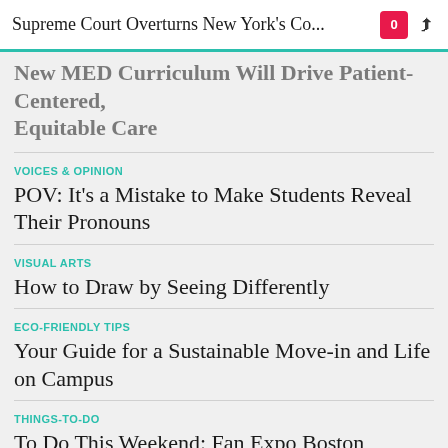Supreme Court Overturns New York's Co...
New MED Curriculum Will Drive Patient-Centered, Equitable Care
VOICES & OPINION
POV: It's a Mistake to Make Students Reveal Their Pronouns
VISUAL ARTS
How to Draw by Seeing Differently
ECO-FRIENDLY TIPS
Your Guide for a Sustainable Move-in and Life on Campus
THINGS-TO-DO
To Do This Weekend: Fan Expo Boston